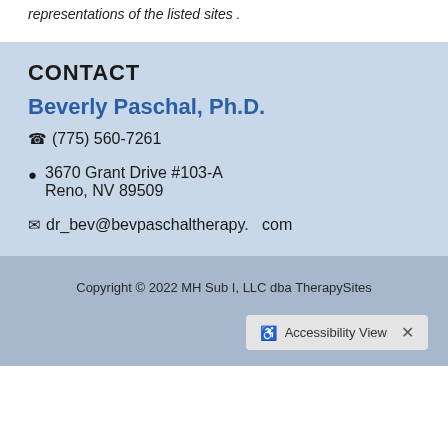representations of the listed sites .
CONTACT
Beverly Paschal, Ph.D.
(775) 560-7261
3670 Grant Drive #103-A
Reno, NV 89509
dr_bev@bevpaschaltherapy.   com
Copyright © 2022 MH Sub I, LLC dba TherapySites